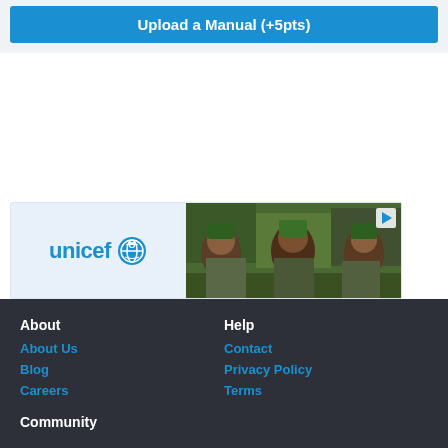Upload a Manual (+5pts)
[Figure (logo): UNICEF logo with globe icon alongside a photo of smiling children wearing green hats]
About
About Us
Blog
Careers
Help
Contact
Privacy Policy
Terms
Community